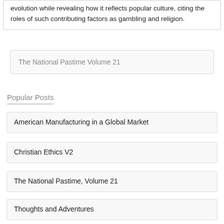evolution while revealing how it reflects popular culture, citing the roles of such contributing factors as gambling and religion.
The National Pastime Volume 21
Popular Posts
American Manufacturing in a Global Market
Christian Ethics V2
The National Pastime, Volume 21
Thoughts and Adventures